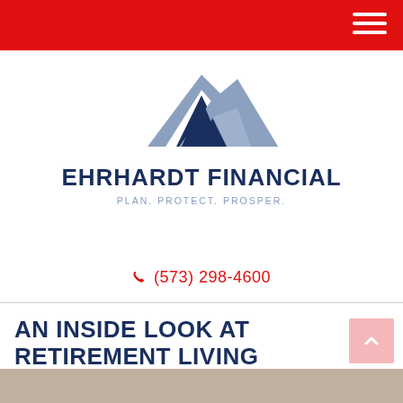[Figure (logo): Ehrhardt Financial logo with mountain/chevron graphic in dark navy and light steel blue, company name EHRHARDT FINANCIAL in dark navy bold uppercase, tagline PLAN. PROTECT. PROSPER. in light blue-grey]
(573) 298-4600
AN INSIDE LOOK AT RETIREMENT LIVING